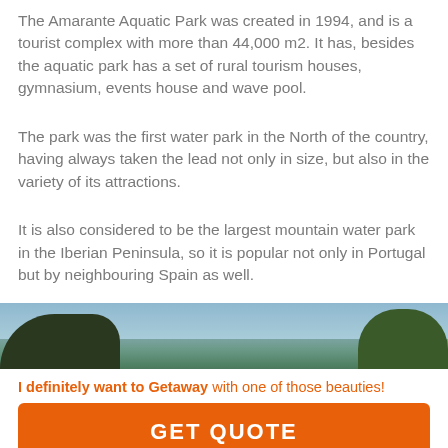The Amarante Aquatic Park was created in 1994, and is a tourist complex with more than 44,000 m2. It has, besides the aquatic park has a set of rural tourism houses, gymnasium, events house and wave pool.
The park was the first water park in the North of the country, having always taken the lead not only in size, but also in the variety of its attractions.
It is also considered to be the largest mountain water park in the Iberian Peninsula, so it is popular not only in Portugal but by neighbouring Spain as well.
[Figure (photo): Panoramic photo of a landscape with sky, dark hills on the left and green trees on the right]
I definitely want to Getaway with one of those beauties!
GET QUOTE